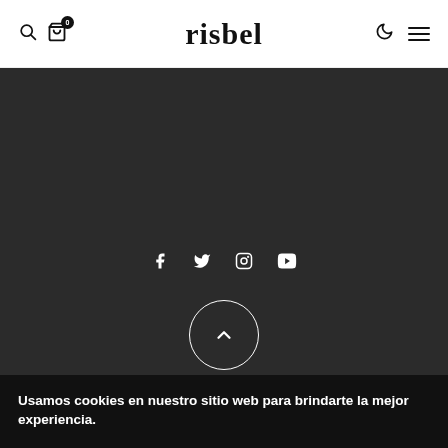risbel
[Figure (screenshot): Dark background section with social media icons (Facebook, Twitter, Instagram, YouTube) and a circular scroll-to-top button with upward chevron]
Usamos cookies en nuestro sitio web para brindarte la mejor experiencia.